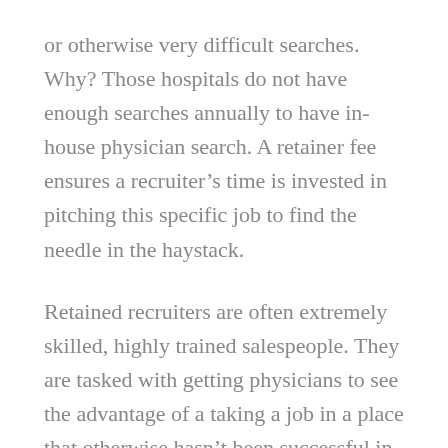or otherwise very difficult searches. Why? Those hospitals do not have enough searches annually to have in-house physician search. A retainer fee ensures a recruiter's time is invested in pitching this specific job to find the needle in the haystack.
Retained recruiters are often extremely skilled, highly trained salespeople. They are tasked with getting physicians to see the advantage of a taking a job in a place that otherwise hasn't been successful in recruiting candidates. That's why they call you about places that are seemingly unrelated to the preferences you listed.
A retained recruiter's firm is being paid for their time, but the profitability of the search declines with